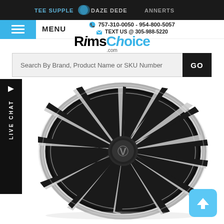TEE SUPPLE · DAZE DEDE · ANNERTS
757-310-0050 · 954-800-5057 | TEXT US @ 305-988-5220
RimsChoice.com
MENU
Search By Brand, Product Name or SKU Number
GO
LIVE CHAT
[Figure (photo): A custom black and machined finish multi-spoke automobile rim/wheel with chrome lip, displayed on white background. Brand appears to be Velocity or similar with a V logo center cap.]